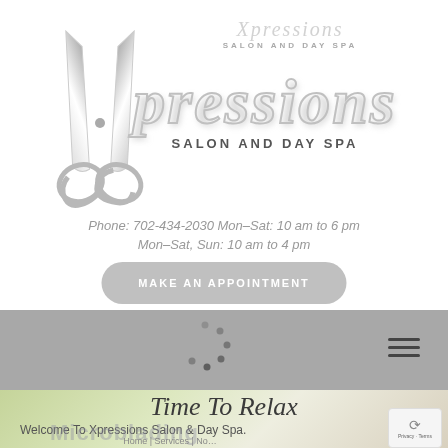[Figure (logo): Xpressions Salon and Day Spa logo with scissors graphic and stylized text]
Phone: 702-434-2030 Mon–Sat, Sun: 10 am to 4 pm
MAKE AN APPOINTMENT
[Figure (other): Loading spinner dots on gray navigation bar with hamburger menu icon]
Time To Relax
Welcome To Xpressions Salon & Day Spa.
Microblading
Home | Services | No…